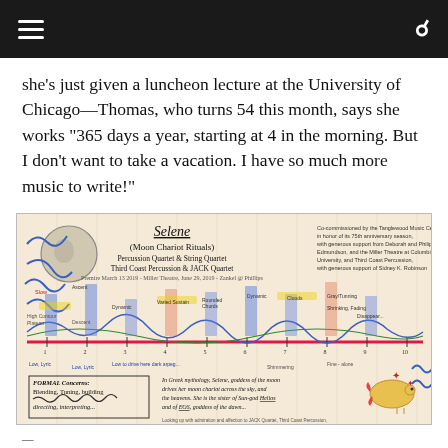she’s just given a luncheon lecture at the University of Chicago—Thomas, who turns 54 this month, says she works “365 days a year, starting at 4 in the morning. But I don’t want to take a vacation. I have so much more music to write!”
[Figure (illustration): A hand-drawn score sketch titled 'Selene (Moon Chariot Rituals)' for Percussion Quartet & String Quartet, Third Coast Percussion & JACK Quartet. The diagram contains musical notations, annotations, waveform-like drawings, colored markings in blue, pink, red and green, symbolic imagery including a moon face and a bird/fish figure, formal concerns listed in a box, and a Greek mythology caption about Selene, goddess of the moon.]